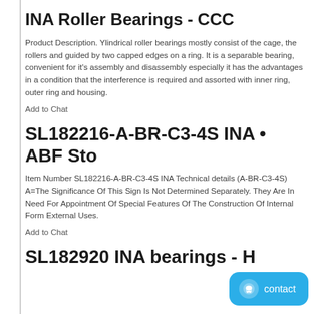INA Roller Bearings - CCC
Product Description. Ylindrical roller bearings mostly consist of the cage, the rollers and guided by two capped edges on a ring. It is a separable bearing, convenient for it's assembly and disassembly especially it has the advantages in a condition that the interference is required and assorted with inner ring, outer ring and housing.
Add to Chat
SL182216-A-BR-C3-4S INA • ABF Sto
Item Number SL182216-A-BR-C3-4S INA Technical details (A-BR-C3-4S) A=The Significance Of This Sign Is Not Determined Separately. They Are In Need For Appointment Of Special Features Of The Construction Of Internal Form External Uses.
Add to Chat
SL182920 INA bearings - H